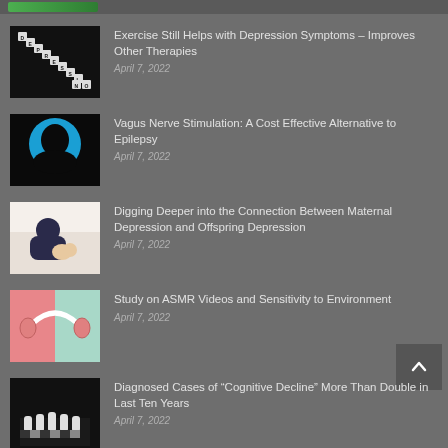Exercise Still Helps with Depression Symptoms – Improves Other Therapies | April 7, 2022
Vagus Nerve Stimulation: A Cost Effective Alternative to Epilepsy | April 7, 2022
Digging Deeper into the Connection Between Maternal Depression and Offspring Depression | April 7, 2022
Study on ASMR Videos and Sensitivity to Environment | April 7, 2022
Diagnosed Cases of "Cognitive Decline" More Than Double in Last Ten Years | April 7, 2022